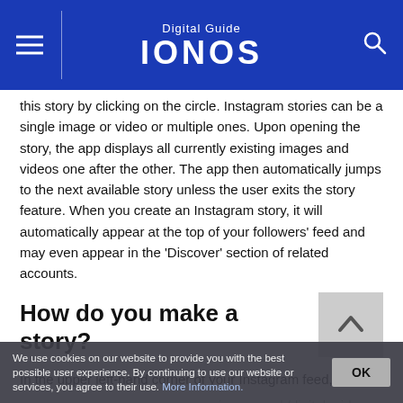Digital Guide IONOS
this story by clicking on the circle. Instagram stories can be a single image or video or multiple ones. Upon opening the story, the app displays all currently existing images and videos one after the other. The app then automatically jumps to the next available story unless the user exits the story feature. When you create an Instagram story, it will automatically appear at the top of your followers' feed and may even appear in the 'Discover' section of related accounts.
How do you make a story?
In the upper left-hand corner of your Instagram feed, you will
We use cookies on our website to provide you with the best possible user experience. By continuing to use our website or services, you agree to their use. More Information.